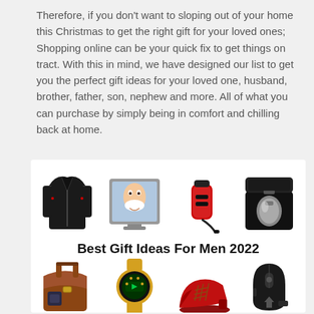Therefore, if you don't want to sloping out of your home this Christmas to get the right gift for your loved ones; Shopping online can be your quick fix to get things on tract. With this in mind, we have designed our list to get you the perfect gift ideas for your loved one, husband, brother, father, son, nephew and more. All of what you can purchase by simply being in comfort and chilling back at home.
[Figure (illustration): Collage image showing men's gift items: a black jacket, a monitor/shaving device, a car charger, a grooming kit in case (top row); text 'Best Gift Ideas For Men 2022'; a messenger bag, a smartwatch, red shoes, a wireless mouse (bottom row).]